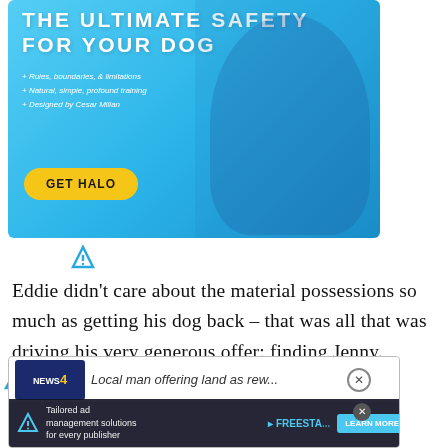[Figure (illustration): Advertisement banner for Halo dog collar featuring 'THE ULTIMATE SAFETY FOR YOUR DOG' headline, bullet points about rules/boundaries/training designed by Cesar Millan, a yellow GET HALO CTA button, and an image of Cesar Millan with a dog on a blue gradient background.]
Eddie didn't care about the material possessions so much as getting his dog back – that was all that was driving his very generous offer: finding Jenny.
[Figure (screenshot): Partially visible News4 broadcast screenshot showing headline 'Local man offering land as rew...' with overlaid Freestar ad: 'Tailored ad management solutions for every publisher' with a LEARN MORE button and decorative graphics.]